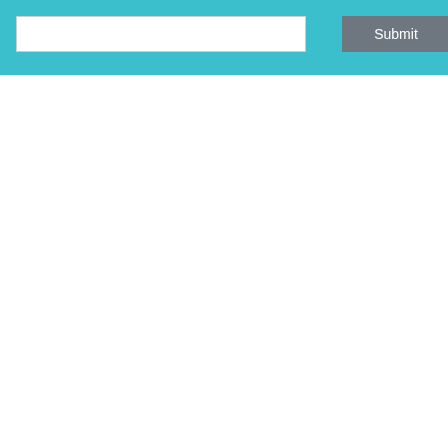[Figure (screenshot): Search bar with text input and Submit button on teal background]
Chipsi EXTRA XXL
[Figure (photo): Product image of Chipsi EXTRA XXL wood granule bag with a bowl of wood shavings in front]
List P
Price
[Figure (other): Teal add-to-cart button with shopping cart icon]
Extra class for dry terrariums and aviaries - exotics. CHIPSI EXTRA solid wood granule specially adapted to the needs of reptiles, m sophisticated small animals. The dust-free p respiratory organs of the animals and ensur environment. Size: 10L
Go to Page   1 ▾   Record per Page
Home  Products  Where To Buy  Specials  Hi-i & AV E  About Us  Contact Us  Faq  Terms of Use  Priv  BACK TO TOP  © Copyright 2022 ~ pethabitat. All Rights Re  Unit D, Atlantic Hills Business Park, Atlantic Drive, Cape Farms, 74